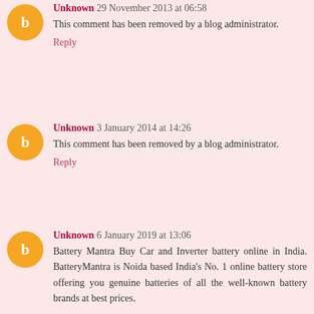Unknown 29 November 2013 at 06:58
This comment has been removed by a blog administrator.
Reply
Unknown 3 January 2014 at 14:26
This comment has been removed by a blog administrator.
Reply
Unknown 6 January 2019 at 13:06
Battery Mantra Buy Car and Inverter battery online in India. BatteryMantra is Noida based India's No. 1 online battery store offering you genuine batteries of all the well-known battery brands at best prices.
Online Inverter Battery Store
Online Car Battery Store
Buy Inverter battery Dealer Noida
Buy battery online Noida
Online Inverter Battery Store